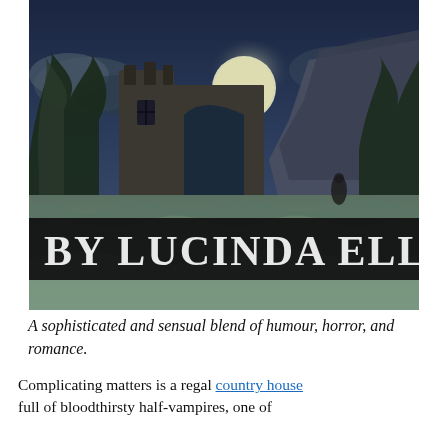[Figure (illustration): Book cover illustration showing a gothic moonlit scene with ruins, dark trees, and misty landscape. A black banner across the lower portion reads 'BY LUCINDA ELLIOT' in large white serif letters.]
A sophisticated and sensual blend of humour, horror, and romance.
Complicating matters is a regal country house full of bloodthirsty half-vampires, one of